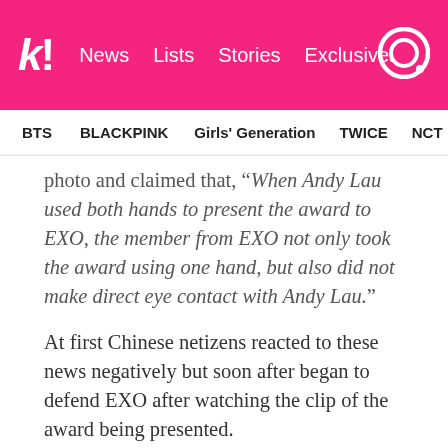Koreaboo | News  Lists  Stories  Exclusives
BTS   BLACKPINK   Girls' Generation   TWICE   NCT   aespa
photo and claimed that, “When Andy Lau used both hands to present the award to EXO, the member from EXO not only took the award using one hand, but also did not make direct eye contact with Andy Lau.”
At first Chinese netizens reacted to these news negatively but soon after began to defend EXO after watching the clip of the award being presented.
Eason Chan has now also come forth and defended the group saying, “The members of EXO have really good manners. The first thing